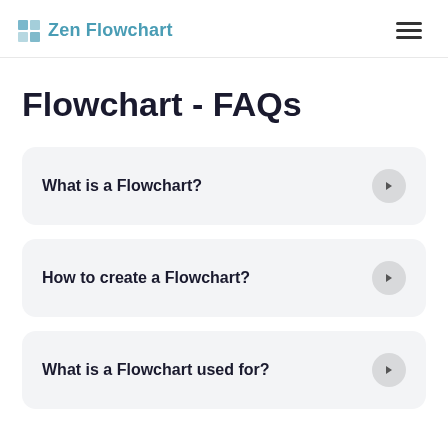Zen Flowchart
Flowchart - FAQs
What is a Flowchart?
How to create a Flowchart?
What is a Flowchart used for?